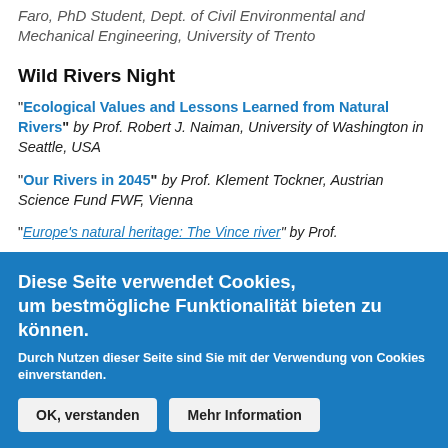Faro, PhD Student, Dept. of Civil Environmental and Mechanical Engineering, University of Trento
Wild Rivers Night
"Ecological Values and Lessons Learned from Natural Rivers" by Prof. Robert J. Naiman, University of Washington in Seattle, USA
"Our Rivers in 2045" by Prof. Klement Tockner, Austrian Science Fund FWF, Vienna
"Europe's natural heritage: The Vince river" by Prof.
Diese Seite verwendet Cookies, um bestmögliche Funktionalität bieten zu können.
Durch Nutzen dieser Seite sind Sie mit der Verwendung von Cookies einverstanden.
OK, verstanden
Mehr Information